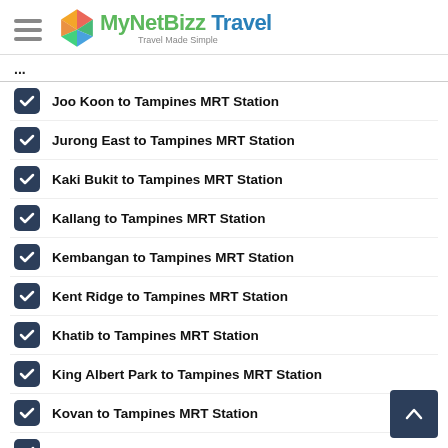[Figure (logo): MyNetBizz Travel logo with colorful diamond icon and tagline 'Travel Made Simple']
Joo Koon to Tampines MRT Station
Jurong East to Tampines MRT Station
Kaki Bukit to Tampines MRT Station
Kallang to Tampines MRT Station
Kembangan to Tampines MRT Station
Kent Ridge to Tampines MRT Station
Khatib to Tampines MRT Station
King Albert Park to Tampines MRT Station
Kovan to Tampines MRT Station
Kranji to Tampines MRT Station
Labrador Park to Tampines MRT Station